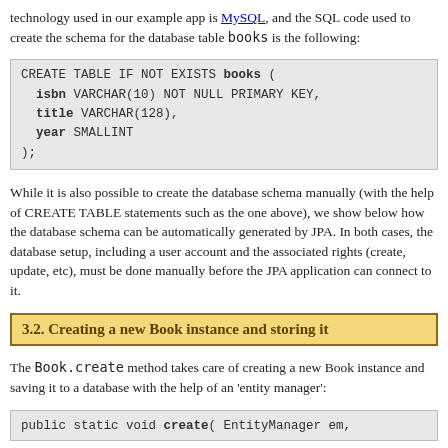technology used in our example app is MySQL, and the SQL code used to create the schema for the database table books is the following:
While it is also possible to create the database schema manually (with the help of CREATE TABLE statements such as the one above), we show below how the database schema can be automatically generated by JPA. In both cases, the database setup, including a user account and the associated rights (create, update, etc), must be done manually before the JPA application can connect to it.
3.2. Creating a new Book instance and storing it
The Book.create method takes care of creating a new Book instance and saving it to a database with the help of an 'entity manager':